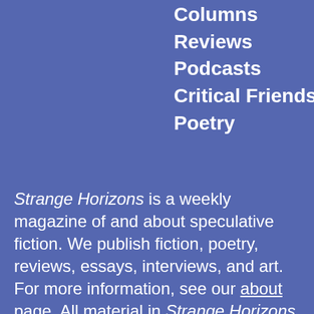Columns
Reviews
Podcasts
Critical Friends
Poetry
Strange Horizons is a weekly magazine of and about speculative fiction. We publish fiction, poetry, reviews, essays, interviews, and art. For more information, see our about page. All material in Strange Horizons is copyrighted to the original authors